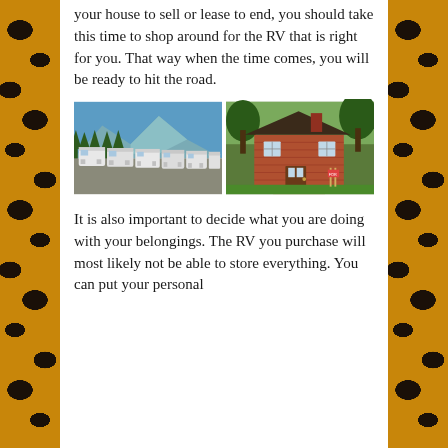your house to sell or lease to end, you should take this time to shop around for the RV that is right for you. That way when the time comes, you will be ready to hit the road.
[Figure (photo): Two side-by-side photos: left shows a row of white RVs/motorhomes parked with mountains and trees in background under blue sky; right shows a brick house with green lawn and trees.]
It is also important to decide what you are doing with your belongings. The RV you purchase will most likely not be able to store everything. You can put your personal